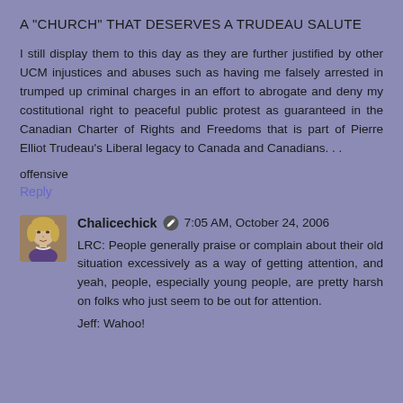A "CHURCH" THAT DESERVES A TRUDEAU SALUTE
I still display them to this day as they are further justified by other UCM injustices and abuses such as having me falsely arrested in trumped up criminal charges in an effort to abrogate and deny my costitutional right to peaceful public protest as guaranteed in the Canadian Charter of Rights and Freedoms that is part of Pierre Elliot Trudeau's Liberal legacy to Canada and Canadians. . .
offensive
Reply
[Figure (photo): Small avatar image of a person, appearing to be a historical or painted portrait of a woman with light skin and hair.]
Chalicechick ✏ 7:05 AM, October 24, 2006
LRC: People generally praise or complain about their old situation excessively as a way of getting attention, and yeah, people, especially young people, are pretty harsh on folks who just seem to be out for attention.
Jeff: Wahoo!